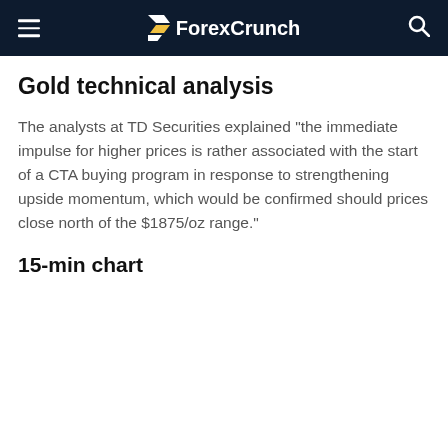ForexCrunch
Gold technical analysis
The analysts at TD Securities explained "the immediate impulse for higher prices is rather associated with the start of a CTA buying program in response to strengthening upside momentum, which would be confirmed should prices close north of the $1875/oz range."
15-min chart